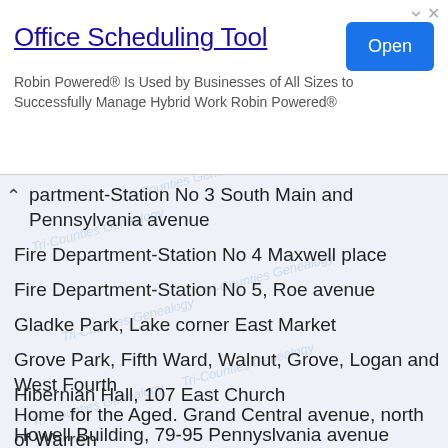[Figure (other): Advertisement banner for Office Scheduling Tool by Robin Powered]
partment-Station No 3 South Main and Pennsylvania avenue
Fire Department-Station No 4 Maxwell place
Fire Department-Station No 5, Roe avenue
Gladke Park, Lake corner East Market
Grove Park, Fifth Ward, Walnut, Grove, Logan and West Fourth
Hibernian Hall, 107 East Church
Home for the Aged. Grand Central avenue, north of Warren
Howell Building, 79-95 Pennyslvania avenue
Hulett Building, Lake and Water, southwest corner
Hygeia Building, 100-104 Ferris